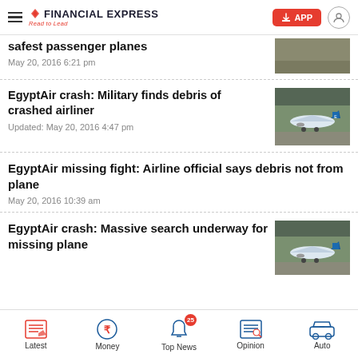FINANCIAL EXPRESS - Read to Lead
safest passenger planes
May 20, 2016 6:21 pm
EgyptAir crash: Military finds debris of crashed airliner
Updated: May 20, 2016 4:47 pm
EgyptAir missing fight: Airline official says debris not from plane
May 20, 2016 10:39 am
EgyptAir crash: Massive search underway for missing plane
Latest | Money | Top News 25 | Opinion | Auto